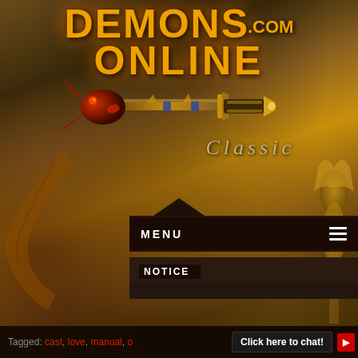[Figure (logo): Demons.com Online Classic game logo with large orange stylized text and a demonic dragon-sword illustration]
MENU
NOTICE
HOME › FORUMS › GENERAL SECTION › RULES AND GUIDELINES › MANUAL OF LOVE CAST
Tagged: cast, love, manual, o[f] | Click here to chat!